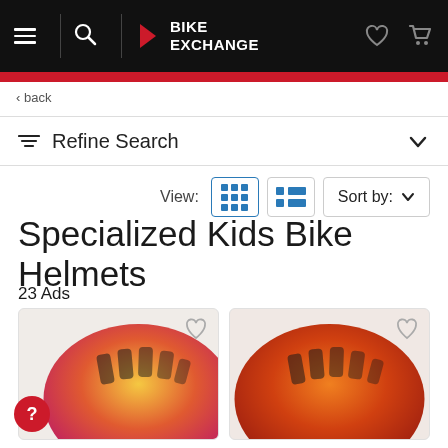BikeExchange navigation bar
‹ back
Refine Search
Specialized Kids Bike Helmets
23 Ads
[Figure (photo): Two colorful kids bike helmets shown in product cards at the bottom of the page]